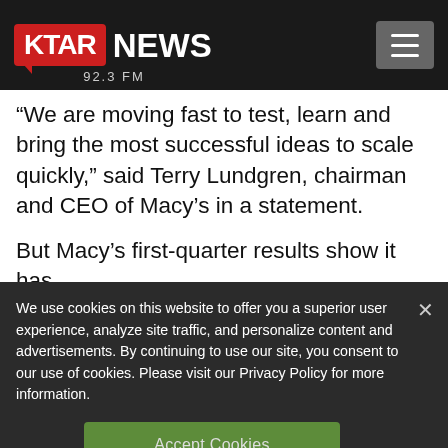KTAR NEWS 92.3 FM
“We are moving fast to test, learn and bring the most successful ideas to scale quickly,” said Terry Lundgren, chairman and CEO of Macy’s in a statement.
But Macy’s first-quarter results show it has
We use cookies on this website to offer you a superior user experience, analyze site traffic, and personalize content and advertisements. By continuing to use our site, you consent to our use of cookies. Please visit our Privacy Policy for more information.
Accept Cookies